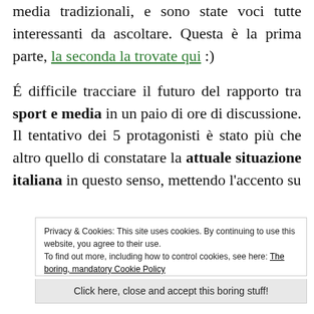media tradizionali, e sono state voci tutte interessanti da ascoltare. Questa è la prima parte, la seconda la trovate qui :)
É difficile tracciare il futuro del rapporto tra sport e media in un paio di ore di discussione. Il tentativo dei 5 protagonisti è stato più che altro quello di constatare la attuale situazione italiana in questo senso, mettendo l'accento su
Privacy & Cookies: This site uses cookies. By continuing to use this website, you agree to their use.
To find out more, including how to control cookies, see here: The boring, mandatory Cookie Policy
Click here, close and accept this boring stuff!